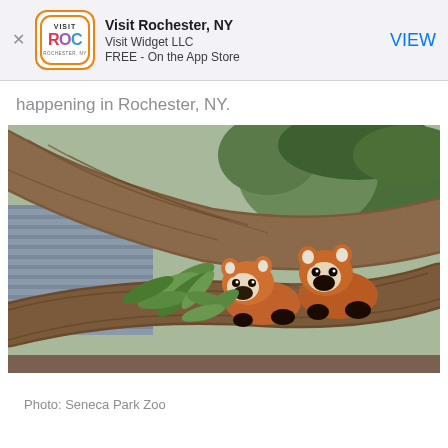[Figure (screenshot): App Store smart banner for 'Visit Rochester, NY' by Visit Widget LLC. Shows app icon (orange rounded square with VISIT ROC ROCHESTER, NY logo), app name, developer, FREE - On the App Store, and a blue VIEW button. There is an X close button on the left.]
happening in Rochester, NY.
[Figure (photo): Photo of two red pandas sitting on a large tree trunk with green bamboo leaves and pine trees in background. A gray building is visible behind. The pandas have reddish-brown fur with white-tipped ears.]
Photo: Seneca Park Zoo